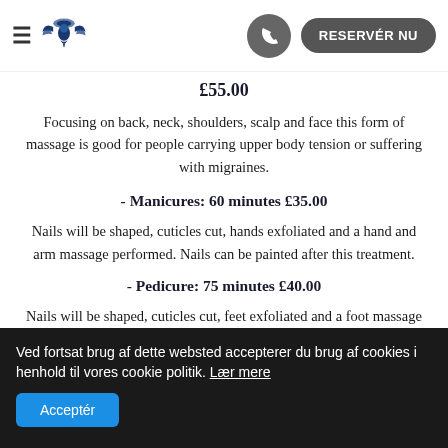≡ [logo] [phone] RESERVÉR NU
£55.00
Focusing on back, neck, shoulders, scalp and face this form of massage is good for people carrying upper body tension or suffering with migraines.
- Manicures: 60 minutes £35.00
Nails will be shaped, cuticles cut, hands exfoliated and a hand and arm massage performed. Nails can be painted after this treatment.
- Pedicure: 75 minutes £40.00
Nails will be shaped, cuticles cut, feet exfoliated and a foot massage performed. Paint can be applied to the toes. Please bring filp flops for this treatment.
Ved fortsat brug af dette websted accepterer du brug af cookies i henhold til vores cookie politik. Lær mere
Acceptér